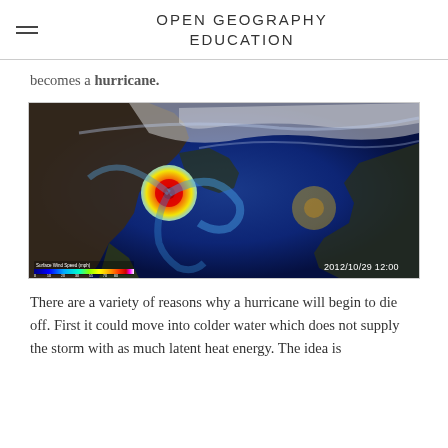OPEN GEOGRAPHY EDUCATION
becomes a hurricane.
[Figure (photo): Satellite visualization of Hurricane Sandy over North America dated 2012/10/29 12:00, showing wind speed with a color scale from blue (low) to red (high). The hurricane appears as a red/orange spiral in the western Atlantic.]
There are a variety of reasons why a hurricane will begin to die off. First it could move into colder water which does not supply the storm with as much latent heat energy. The idea is